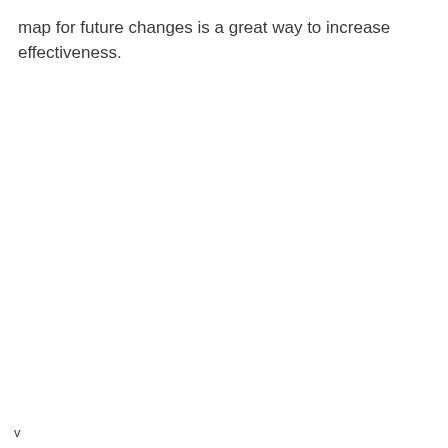map for future changes is a great way to increase effectiveness.
v